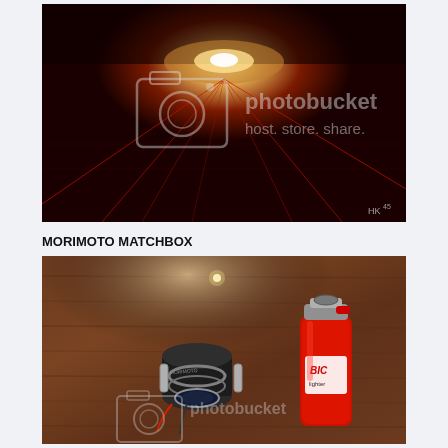[Figure (photo): Dark red/black scene with glowing light source in the center top area and red laser-like light beams crossing the dark floor/surface. Photobucket watermark overlay with camera icon and text 'photobucket host. store. share.' HK45 text in bottom right corner.]
MORIMOTO MATCHBOX
[Figure (photo): Close-up photo of a small Morimoto matchbox HID projector lens/kit placed on a wooden surface next to a red BIC lighter for size comparison. Photobucket watermark overlay visible at bottom.]